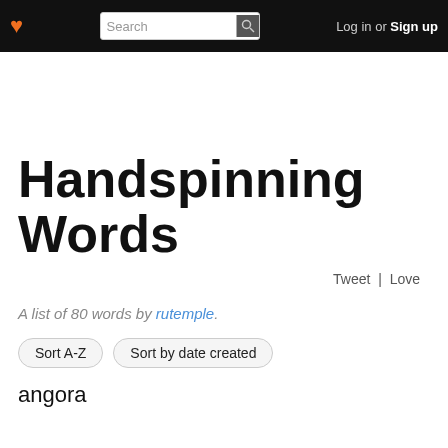❤ Search Log in or Sign up
Handspinning Words
Tweet | Love
A list of 80 words by rutemple.
Sort A-Z
Sort by date created
angora